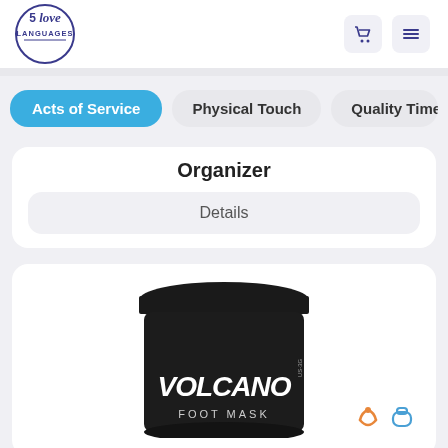[Figure (logo): 5 Love Languages logo — circular logo with '5 love LANGUAGES' text inside a circle outline]
[Figure (other): Shopping cart icon and hamburger menu icon in rounded square boxes]
Acts of Service
Physical Touch
Quality Time
Organizer
Details
[Figure (photo): Black cylindrical tub labeled VOLCANO FOOT MASK]